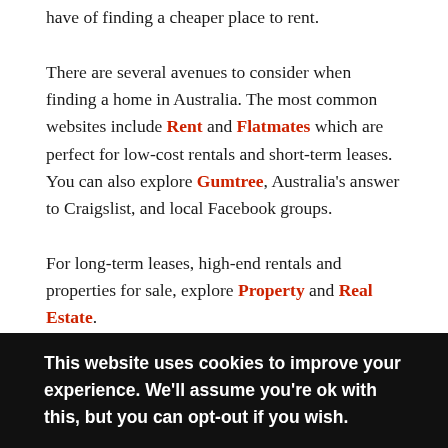have of finding a cheaper place to rent.
There are several avenues to consider when finding a home in Australia. The most common websites include Rent and Flatmates which are perfect for low-cost rentals and short-term leases. You can also explore Gumtree, Australia's answer to Craigslist, and local Facebook groups.
For long-term leases, high-end rentals and properties for sale, explore Property and Real Estate.
Shared Room in Perth – $450
This website uses cookies to improve your experience. We'll assume you're ok with this, but you can opt-out if you wish.